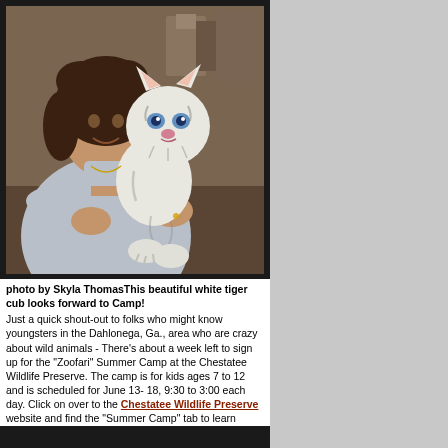[Figure (photo): A woman with curly brown hair wearing a light grey turtleneck sweater holding a white tiger cub. The background shows a room interior. The woman is smiling and cradling the small white tiger cub which has blue eyes and distinctive black stripes.]
photo by Skyla ThomasThis beautiful white tiger cub looks forward to Camp!
Just a quick shout-out to folks who might know youngsters in the Dahlonega, Ga., area who are crazy about wild animals - There's about a week left to sign up for the "Zoofari" Summer Camp at the Chestatee Wildlife Preserve. The camp is for kids ages 7 to 12 and is scheduled for June 13- 18, 9:30 to 3:00 each day. Click on over to the Chestatee Wildlife Preserve website and find the "Summer Camp" tab to learn